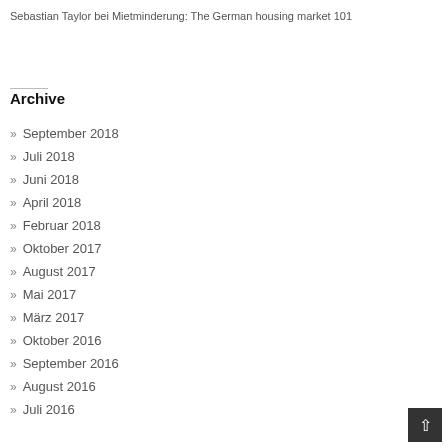Sebastian Taylor bei Mietminderung: The German housing market 101
Archive
September 2018
Juli 2018
Juni 2018
April 2018
Februar 2018
Oktober 2017
August 2017
Mai 2017
März 2017
Oktober 2016
September 2016
August 2016
Juli 2016